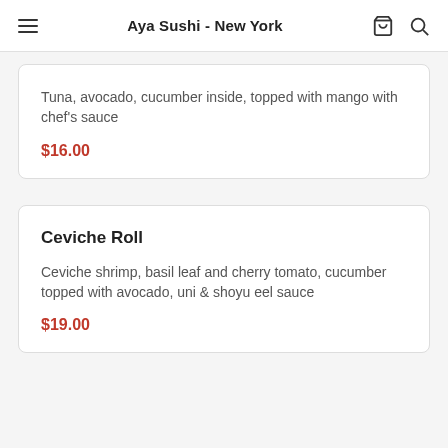Aya Sushi - New York
Tuna, avocado, cucumber inside, topped with mango with chef’s sauce
$16.00
Ceviche Roll
Ceviche shrimp, basil leaf and cherry tomato, cucumber topped with avocado, uni & shoyu eel sauce
$19.00